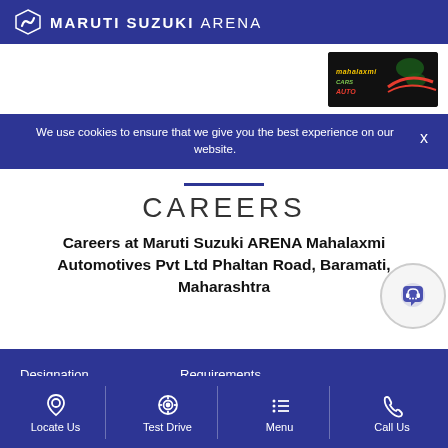MARUTI SUZUKI ARENA
[Figure (logo): Mahalaxmi Auto dealer logo in black box with colored text]
We use cookies to ensure that we give you the best experience on our website.
CAREERS
Careers at Maruti Suzuki ARENA Mahalaxmi Automotives Pvt Ltd Phaltan Road, Baramati, Maharashtra
| Designation | Requirements |
| --- | --- |
| General Manager |  |
Locate Us   Test Drive   Menu   Call Us